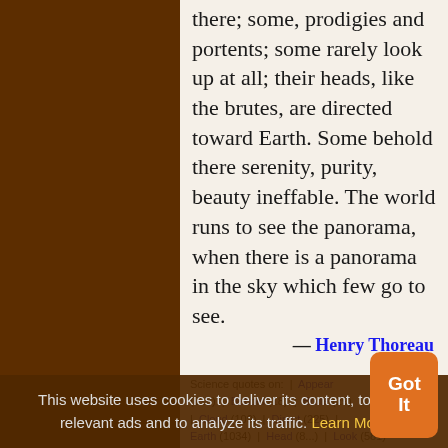there; some, prodigies and portents; some rarely look up at all; their heads, like the brutes, are directed toward Earth. Some behold there serenity, purity, beauty ineffable. The world runs to see the panorama, when there is a panorama in the sky which few go to see.
— Henry Thoreau
Science quotes on: | Appear (118) | Behold (18) | Brute (29) | Cloud (109) | Direct (225) | Earth (1034) | Head (87) | Look (581) | Man (2252) | Mind (1359) | Panorama (5) | Portent (2) | Prodigy (5) | Purity (15) |
This website uses cookies to deliver its content, to show relevant ads and to analyze its traffic. Learn More